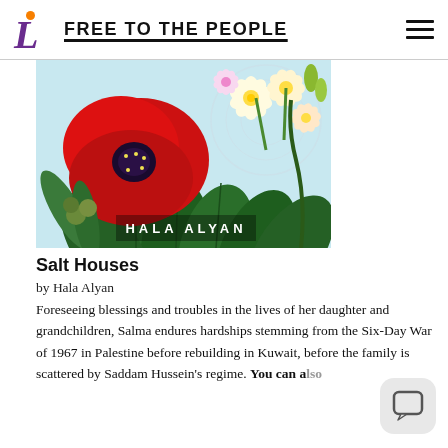FREE TO THE PEOPLE
[Figure (illustration): Book cover for 'Salt Houses' by Hala Alyan featuring a red poppy flower and tropical foliage with text 'HALA ALYAN' at the bottom]
Salt Houses
by Hala Alyan
Foreseeing blessings and troubles in the lives of her daughter and grandchildren, Salma endures hardships stemming from the Six-Day War of 1967 in Palestine before rebuilding in Kuwait, before the family is scattered by Saddam Hussein's regime. You can also